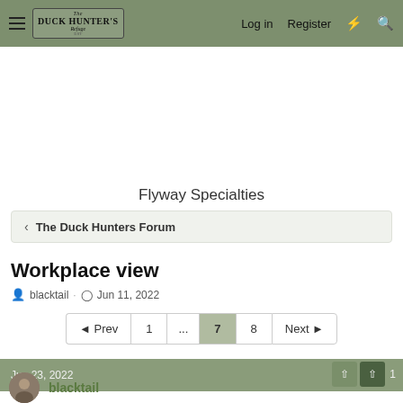Duck Hunter's Forum — Log in  Register
Flyway Specialties
< The Duck Hunters Forum
Workplace view
blacktail · Jun 11, 2022
◄ Prev  1  ...  7  8  Next ►
Jun 23, 2022
blacktail